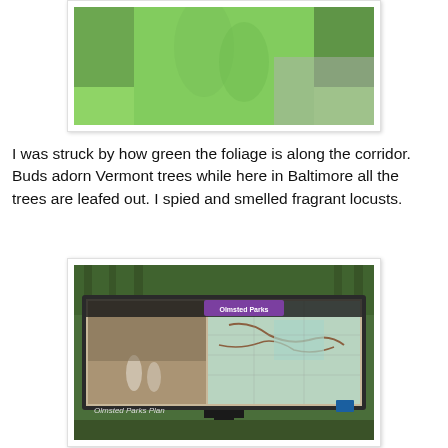[Figure (photo): Close-up photo of a person wearing a bright green jacket, with trees and a path visible in the background.]
I was struck by how green the foliage is along the corridor. Buds adorn Vermont trees while here in Baltimore all the trees are leafed out. I spied and smelled fragrant locusts.
[Figure (photo): Photo of an outdoor interpretive sign titled 'Olmsted Parks Plan', showing a map of Baltimore parks and a historical black-and-white photo on the left side. The sign header reads 'Olmsted Parks' in purple.]